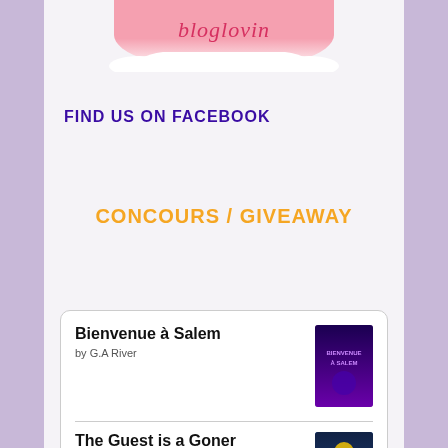[Figure (logo): Bloglovin logo with pink background and cloud-shaped bottom]
FIND US ON FACEBOOK
CONCOURS / GIVEAWAY
Bienvenue à Salem
by G.A River
The Guest is a Goner
by Carly Winter
3.5/5